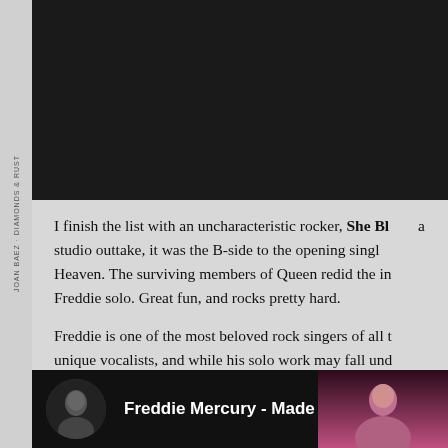[Figure (screenshot): Top dark video/media bar area, black background]
I finish the list with an uncharacteristic rocker, She Bl... a studio outtake, it was the B-side to the opening singl... Heaven. The surviving members of Queen redid the in... Freddie solo. Great fun, and rocks pretty hard.
Freddie is one of the most beloved rock singers of all t... unique vocalists, and while his solo work may fall und... much of it is surprisingly excellent. He died far too yo... can at least continue to discover the breadth of his wor...
[Figure (screenshot): YouTube-style video thumbnail showing Freddie Mercury - Made In H... with circular profile icon and performer image]